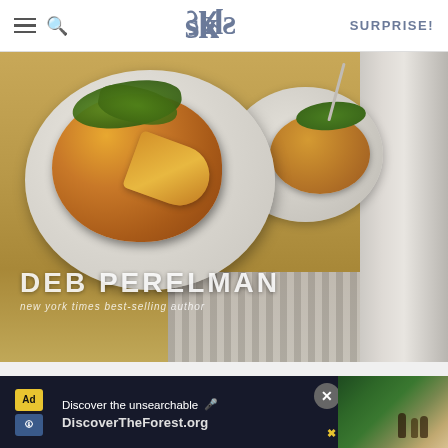SK — SURPRISE!
[Figure (photo): Book cover photo showing a frittata or potato cake on a white plate with green arugula on top, by Deb Perelman, New York Times best-selling author. A second plate visible in background. Book spine visible on right side.]
DEB PERELMAN
new york times best-selling author
AS AN AMAZON ASSOCIATE I EARN FROM QUALIFYING PURCHASES.
©2009–2022 SMITTEN KITCHEN. PROUDLY POWERED BY WORDPRESS.
HOSTED BY PRESSABLE.
[Figure (screenshot): Advertisement banner for DiscoverTheForest.org — 'Discover the unsearchable' with forest/hiking photo on right side and close button]